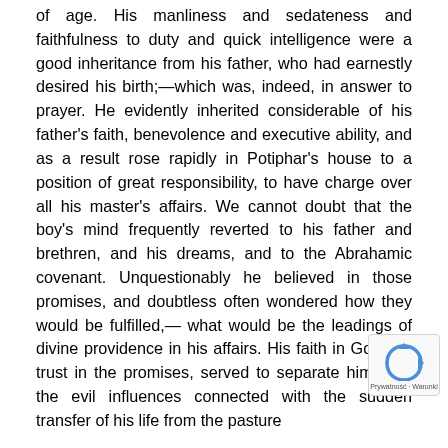of age. His manliness and sedateness and faithfulness to duty and quick intelligence were a good inheritance from his father, who had earnestly desired his birth;—which was, indeed, in answer to prayer. He evidently inherited considerable of his father's faith, benevolence and executive ability, and as a result rose rapidly in Potiphar's house to a position of great responsibility, to have charge over all his master's affairs. We cannot doubt that the boy's mind frequently reverted to his father and brethren, and his dreams, and to the Abrahamic covenant. Unquestionably he believed in those promises, and doubtless often wondered how they would be fulfilled,—what would be the leadings of divine providence in his affairs. His faith in God, his trust in the promises, served to separate him from the evil influences connected with the sudden transfer of his life from the pasture